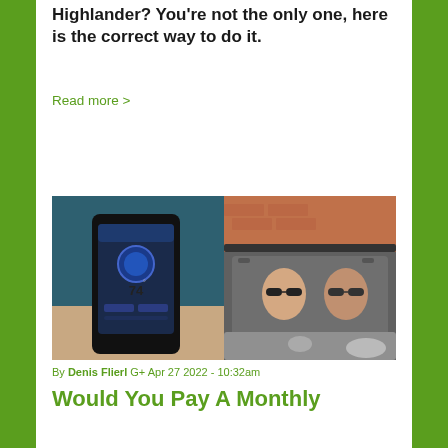Highlander? You're not the only one, here is the correct way to do it.
Read more >
[Figure (photo): Split photo: left side shows a hand holding a smartphone displaying an app with '74' visible; right side shows two people sitting inside a car viewed through the windshield.]
By Denis Flierl G+ Apr 27 2022 - 10:32am
Would You Pay A Monthly